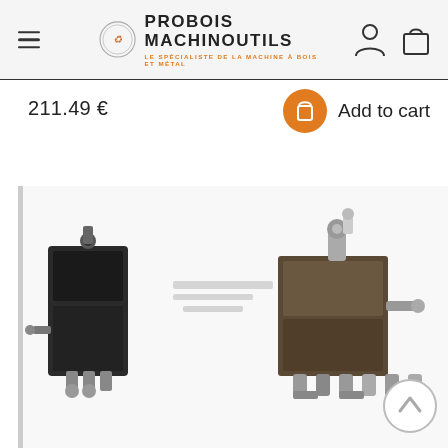Probois Machinoutils – Le spécialiste de la machine à bois et métal
211.49 €
Add to cart
[Figure (photo): Close-up photograph of a hydraulic or mechanical component with metal fittings, connectors, and valves on a white background.]